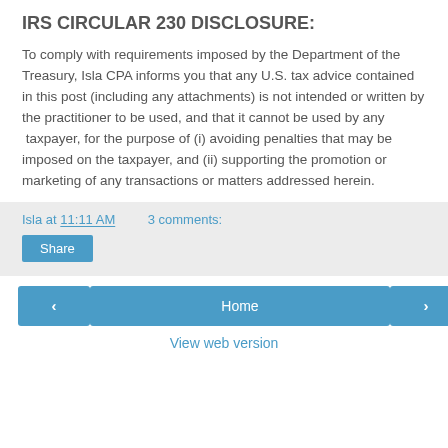IRS CIRCULAR 230 DISCLOSURE:
To comply with requirements imposed by the Department of the Treasury, Isla CPA informs you that any U.S. tax advice contained in this post (including any attachments) is not intended or written by the practitioner to be used, and that it cannot be used by any  taxpayer, for the purpose of (i) avoiding penalties that may be imposed on the taxpayer, and (ii) supporting the promotion or marketing of any transactions or matters addressed herein.
Isla at 11:11 AM    3 comments:
Share
‹
Home
›
View web version